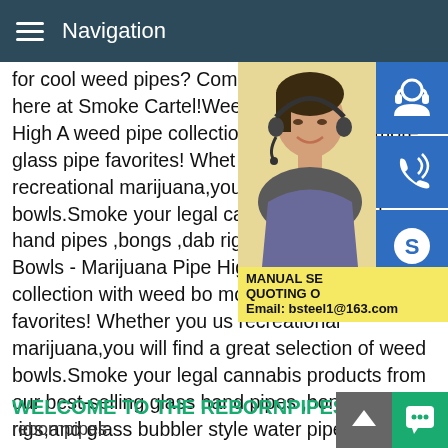Navigation
for cool weed pipes? Come buy the perfect weed here at Smoke Cartel!Weed Bowls - Pipes Mile High A weed pipe collection wit pipes,and more glass pipe favorites! Whet marijuana or recreational marijuana,you w of weed bowls.Smoke your legal cannabis selling glass hand pipes ,bongs ,dab rigs,a water pipes .Weed Bowls - Marijuana Pipe High A weed pipe collection with weed bo more glass pipe favorites! Whether you us recreational marijuana,you will find a great selection of weed bowls.Smoke your legal cannabis products from our best-selling glass hand pipes ,bongs ,dab rigs,and glass bubbler style water pipes .
[Figure (photo): Customer service woman with headset, smiling, with blue icon buttons for customer support, phone, and Skype on the right side, and a yellow contact box showing MANUAL SE... QUOTING O... Email: bsteel1@163.com]
WELCOME TO THE REBORNPIPES STORE rebornpipes